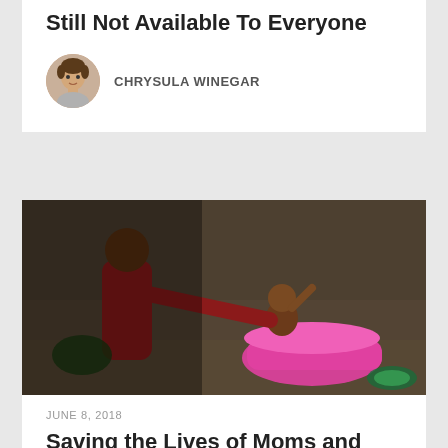Still Not Available To Everyone
CHRYSULA WINEGAR
[Figure (photo): A person bathing a young baby or toddler outdoors in a pink tub, the child appears to be crying or excited, photographed in low light against a concrete wall backdrop.]
JUNE 8, 2018
Saving the Lives of Moms and Babies in the DRC